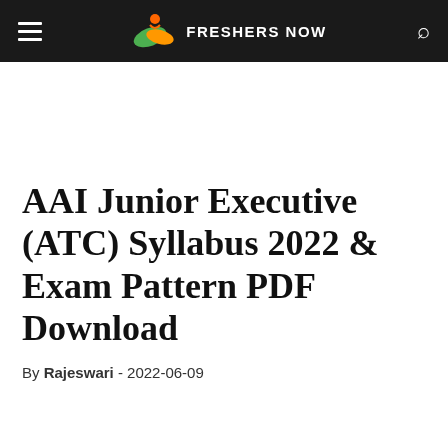FRESHERS NOW
AAI Junior Executive (ATC) Syllabus 2022 & Exam Pattern PDF Download
By Rajeswari - 2022-06-09